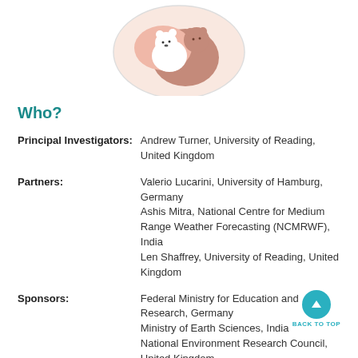[Figure (illustration): Circular illustration showing a cute cartoon polar bear and cub on a globe, with pink and brown tones]
Who?
Principal Investigators: Andrew Turner, University of Reading, United Kingdom
Partners: Valerio Lucarini, University of Hamburg, Germany
Ashis Mitra, National Centre for Medium Range Weather Forecasting (NCMRWF), India
Len Shaffrey, University of Reading, United Kingdom
Sponsors: Federal Ministry for Education and Research, Germany
Ministry of Earth Sciences, India
National Environment Research Council, United Kingdom